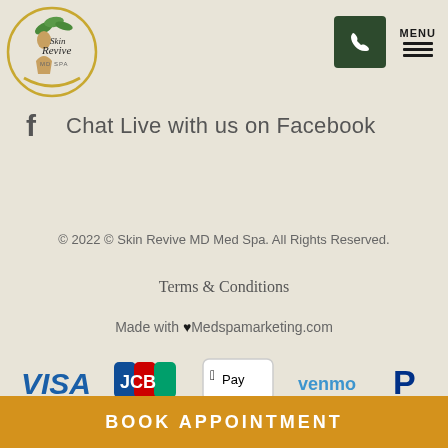[Figure (logo): Skin Revive MD Spa circular logo with woman silhouette and green leaves]
[Figure (infographic): Dark green phone icon button and MENU hamburger icon in header]
Chat Live with us on Facebook
© 2022 © Skin Revive MD Med Spa. All Rights Reserved.
Terms & Conditions
Made with ♥ Medspamarketing.com
[Figure (infographic): Payment method logos: VISA, JCB, Apple Pay, venmo, PayPal]
BOOK APPOINTMENT